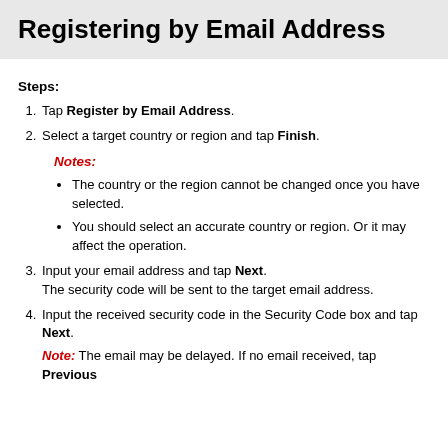Registering by Email Address
Steps:
Tap Register by Email Address.
Select a target country or region and tap Finish.
Notes:
The country or the region cannot be changed once you have selected.
You should select an accurate country or region. Or it may affect the operation.
Input your email address and tap Next. The security code will be sent to the target email address.
Input the received security code in the Security Code box and tap Next.
Note: The email may be delayed. If no email received, tap Previous